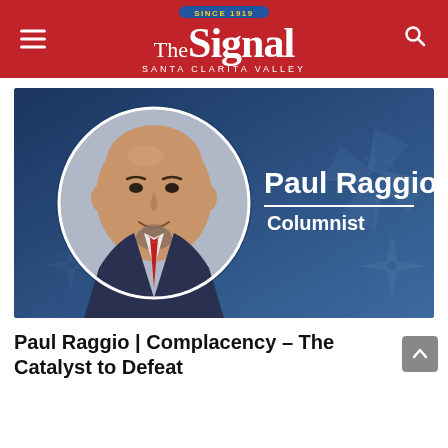The Signal — Santa Clarita Valley
[Figure (photo): Columnist card with photo of Paul Raggio (bald man with goatee wearing suit and red tie) in a circular frame on a blue background with compass rose watermarks, name 'Paul Raggio' in large white bold text and 'Columnist' below a white horizontal rule]
Paul Raggio | Complacency – The Catalyst to Defeat